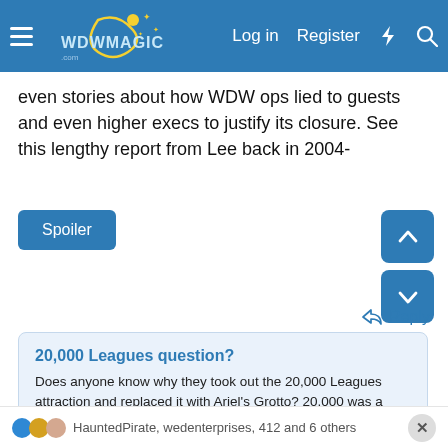WDWMAGIC — Log in | Register
even stories about how WDW ops lied to guests and even higher execs to justify its closure. See this lengthy report from Lee back in 2004-
Spoiler
[Figure (screenshot): Link preview card for forums.wdwmagic.com showing post titled '20,000 Leagues question?' with body text: Does anyone know why they took out the 20,000 Leagues attraction and replaced it with Ariel's Grotto? 20,000 was a very cool attraction....and I miss it everytime I walk back into Fantasyland....sometimes I just don't understand Disney..Horizons, AE, WOM, 20,000 Leagues....taking away some good...]
Reply
HauntedPirate, wedenterprises, 412 and 6 others